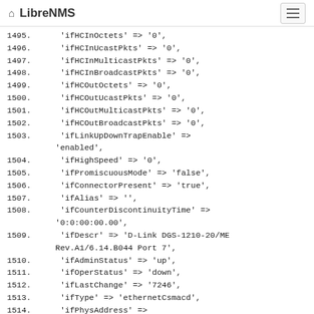LibreNMS
1495.      'ifHCInOctets' => '0',
1496.      'ifHCInUcastPkts' => '0',
1497.      'ifHCInMulticastPkts' => '0',
1498.      'ifHCInBroadcastPkts' => '0',
1499.      'ifHCOutOctets' => '0',
1500.      'ifHCOutUcastPkts' => '0',
1501.      'ifHCOutMulticastPkts' => '0',
1502.      'ifHCOutBroadcastPkts' => '0',
1503.      'ifLinkUpDownTrapEnable' =>
          'enabled',
1504.      'ifHighSpeed' => '0',
1505.      'ifPromiscuousMode' => 'false',
1506.      'ifConnectorPresent' => 'true',
1507.      'ifAlias' => '',
1508.      'ifCounterDiscontinuityTime' =>
          '0:0:00:00.00',
1509.      'ifDescr' => 'D-Link DGS-1210-20/ME Rev.A1/6.14.B044 Port 7',
1510.      'ifAdminStatus' => 'up',
1511.      'ifOperStatus' => 'down',
1512.      'ifLastChange' => '7246',
1513.      'ifType' => 'ethernetCsmacd',
1514.      'ifPhysAddress' =>
          'ec:22:80:72:ac:66',